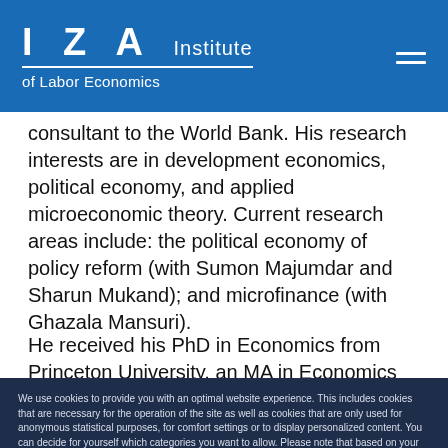IZA Institute of Labor Economics
consultant to the World Bank. His research interests are in development economics, political economy, and applied microeconomic theory. Current research areas include: the political economy of policy reform (with Sumon Majumdar and Sharun Mukand); and microfinance (with Ghazala Mansuri).
He received his PhD in Economics from Princeton University, an MA in Economics from Johns Hopkins University, and a BA
We use cookies to provide you with an optimal website experience. This includes cookies that are necessary for the operation of the site as well as cookies that are only used for anonymous statistical purposes, for comfort settings or to display personalized content. You can decide for yourself which categories you want to allow. Please note that based on your settings, you may not be able to use all of the site's functions.
Configure consent
Accept all